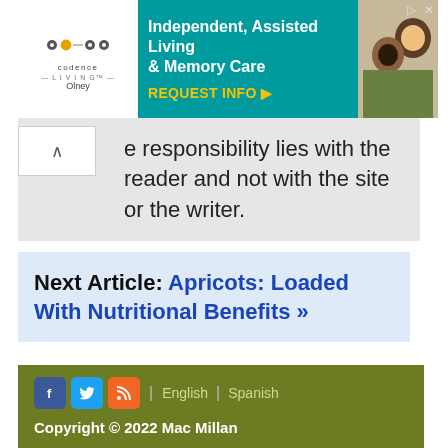[Figure (screenshot): Advertisement banner for Cadence Living Olney - Independent, Assisted Living & Memory Care with REQUEST INFO button]
responsibility lies with the reader and not with the site or the writer.
Next Article: Apricots: Loaded With Nutritional Benefits »
More articles from the Nutrition Category
Copyright © 2022 Mac Millan